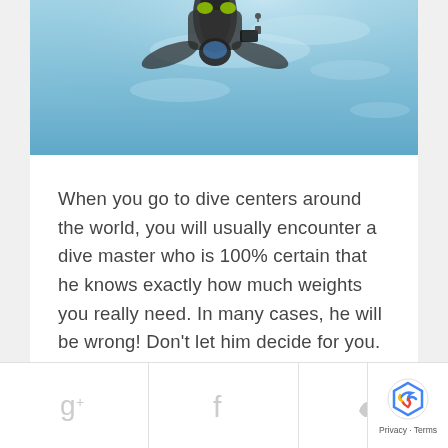[Figure (photo): Underwater photo of a scuba diver from below, seen against light blue water with sunlight filtering through]
When you go to dive centers around the world, you will usually encounter a dive master who is 100% certain that he knows exactly how much weights you really need. In many cases, he will be wrong! Don't let him decide for you. He is likely to give you a default answer which might be
READ MORE →
[Figure (other): Social sharing bar with Google+, Facebook, and Twitter icons, plus reCAPTCHA badge in bottom right corner]